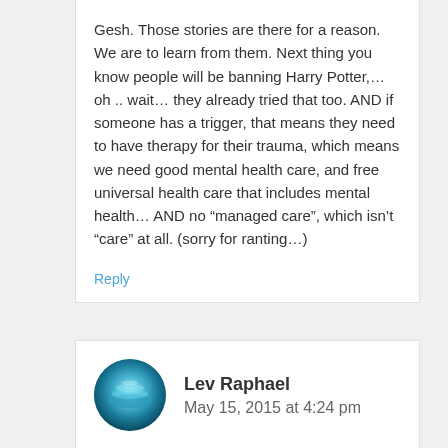Gesh. Those stories are there for a reason. We are to learn from them. Next thing you know people will be banning Harry Potter,… oh .. wait… they already tried that too. AND if someone has a trigger, that means they need to have therapy for their trauma, which means we need good mental health care, and free universal health care that includes mental health… AND no “managed care”, which isn’t “care” at all. (sorry for ranting…)
Reply
Lev Raphael
May 15, 2015 at 4:24 pm